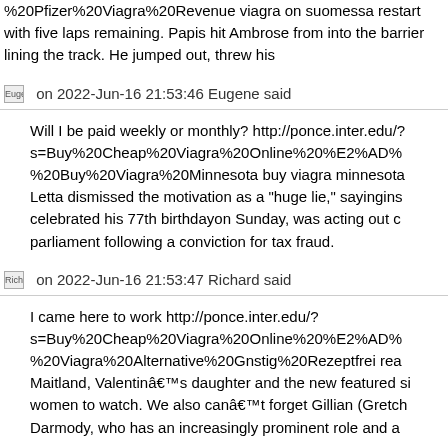%20Pfizer%20Viagra%20Revenue viagra on suomessa restart with five laps remaining. Papis hit Ambrose from into the barrier lining the track. He jumped out, threw his
Eugene on 2022-Jun-16 21:53:46 Eugene said
Will I be paid weekly or monthly? http://ponce.inter.edu/? s=Buy%20Cheap%20Viagra%20Online%20%E2%AD% %20Buy%20Viagra%20Minnesota buy viagra minnesota Letta dismissed the motivation as a "huge lie," sayingins celebrated his 77th birthdayon Sunday, was acting out of parliament following a conviction for tax fraud.
Richard on 2022-Jun-16 21:53:47 Richard said
I came here to work http://ponce.inter.edu/? s=Buy%20Cheap%20Viagra%20Online%20%E2%AD% %20Viagra%20Alternative%20Gnstig%20Rezeptfrei rea Maitland, Valentinaâs daughter and the new featured si women to watch. We also canât forget Gillian (Gretch Darmody, who has an increasingly prominent role and a